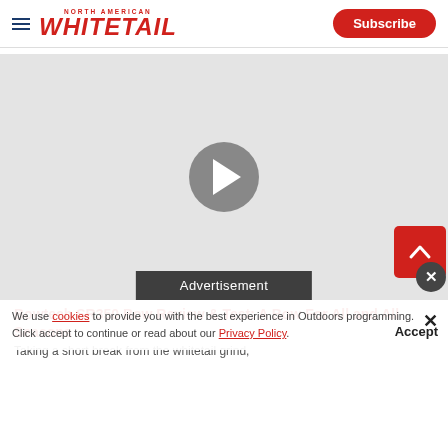North American Whitetail — Subscribe
[Figure (screenshot): Video player with gray background, circular play button in center, Advertisement overlay at bottom, scroll-up and close buttons at bottom right]
Advertisement
We use cookies to provide you with the best experience in Outdoors programming. Click accept to continue or read about our Privacy Policy.
Bowtech SR350 Bow Review & Test: A Bow For All and All Seasons
Taking a short break from the whitetail grind,